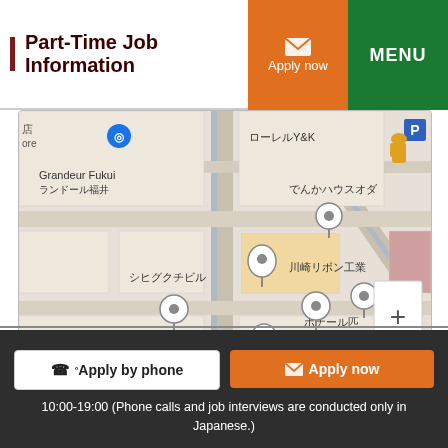Part-Time Job Information
[Figure (map): Google Maps screenshot showing streets and landmarks in Fukui, Japan, with Japanese labels including でんかハウスオダ, 川崎リボン工業, シヒグクチビル, Grandeur Fukui ランドール福井, ローレルY&K, ボナール匹. Multiple map pins visible. Keyboard shortcuts | Map data ©2022 | Terms of Use shown at bottom.]
Apply by phone
Apply now
10:00-19:00 (Phone calls and job interviews are conducted only in Japanese.)